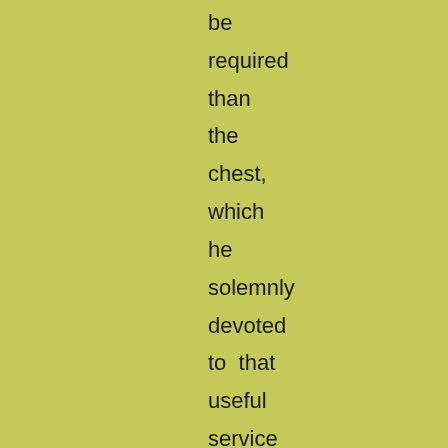be required than the chest, which he solemnly devoted to that useful service thenceforth. Their blankets, clothes, and the like